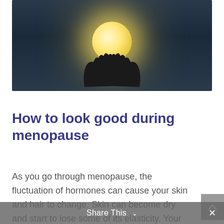[Figure (photo): Woman smiling and holding a glowing moon-like orb in her hands against a dark background]
How to look good during menopause
As you go through menopause, the fluctuation of hormones can cause your skin and hair to change. Skin can become dry and start to lose some of its elasticity. Your jowls may start to sag a little and it's not unheard of for some to